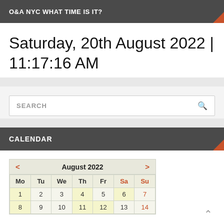O&A NYC WHAT TIME IS IT?
Saturday, 20th August 2022 | 11:17:16 AM
[Figure (other): Search box with placeholder text SEARCH and magnifying glass icon]
CALENDAR
| Mo | Tu | We | Th | Fr | Sa | Su |
| --- | --- | --- | --- | --- | --- | --- |
| 1 | 2 | 3 | 4 | 5 | 6 | 7 |
| 8 | 9 | 10 | 11 | 12 | 13 | 14 |